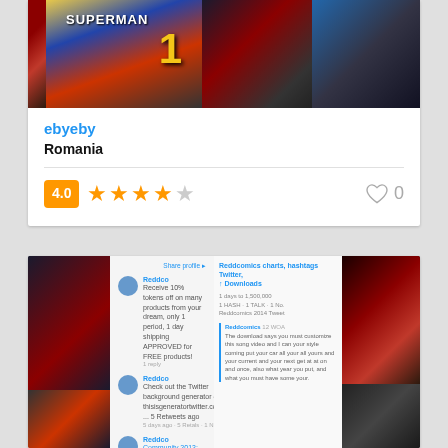[Figure (screenshot): Comic book images banner showing Superman #1 cover and superhero panels]
ebyeby
Romania
[Figure (other): Rating badge showing 4.0 with 4 orange stars and 1 grey star, heart icon with 0 likes]
[Figure (screenshot): Screenshot of a social media feed about comics with superhero images on left and right sides]